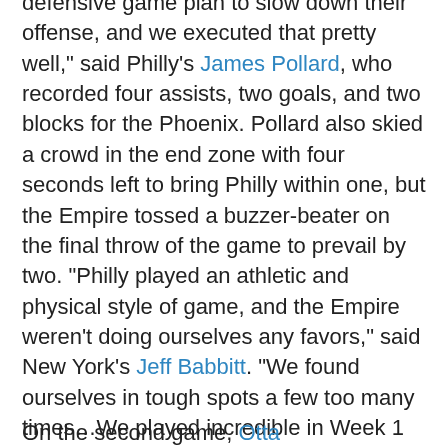defensive game plan to slow down their offense, and we executed that pretty well," said Philly's James Pollard, who recorded four assists, two goals, and two blocks for the Phoenix. Pollard also skied a crowd in the end zone with four seconds left to bring Philly within one, but the Empire tossed a buzzer-beater on the final throw of the game to prevail by two. "Philly played an athletic and physical style of game, and the Empire weren't doing ourselves any favors," said New York's Jeff Babbitt. "We found ourselves in tough spots a few too many times...We played incredible in Week 1 [against DC,] all things considered. Week 2 [against Philly], I think we had a little too much focus on who we were playing against versus focusing on what we ourselves needed to be doing."
On the second game, Ottawa...